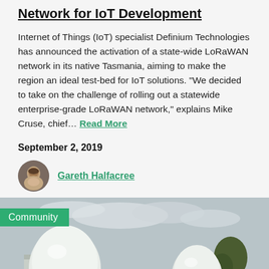Network for IoT Development
Internet of Things (IoT) specialist Definium Technologies has announced the activation of a state-wide LoRaWAN network in its native Tasmania, aiming to make the region an ideal test-bed for IoT solutions. “We decided to take on the challenge of rolling out a statewide enterprise-grade LoRaWAN network,” explains Mike Cruse, chief... Read More
September 2, 2019
Gareth Halfacree
[Figure (photo): Outdoor photo with white weather balloons floating near a building under a cloudy sky, with green Community tag overlay]